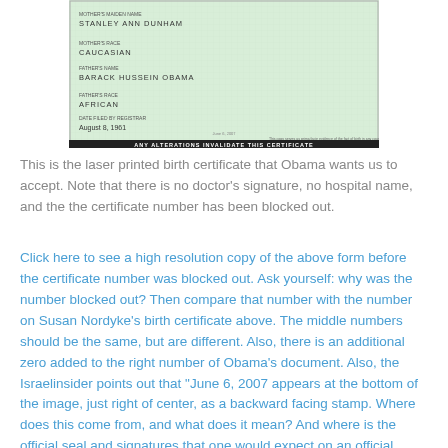[Figure (photo): Partial image of a laser printed birth certificate showing fields for mother's maiden name (STANLEY ANN DUNHAM), mother's race (CAUCASIAN), father's name (BARACK HUSSEIN OBAMA), father's race (AFRICAN), date filed by registrar (August 8, 1961), with a black bar at the bottom reading ANY ALTERATIONS INVALIDATE THIS CERTIFICATE]
This is the laser printed birth certificate that Obama wants us to accept. Note that there is no doctor's signature, no hospital name, and the the certificate number has been blocked out.
Click here to see a high resolution copy of the above form before the certificate number was blocked out. Ask yourself: why was the number blocked out? Then compare that number with the number on Susan Nordyke's birth certificate above. The middle numbers should be the same, but are different. Also, there is an additional zero added to the right number of Obama's document. Also, the Israelinsider points out that "June 6, 2007 appears at the bottom of the image, just right of center, as a backward facing stamp. Where does this come from, and what does it mean? And where is the official seal and signatures that one would expect on an official document of this kind?"